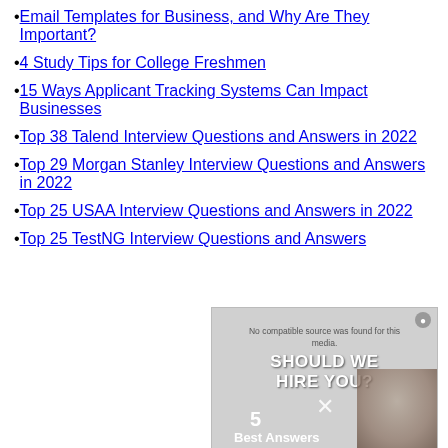Email Templates for Business, and Why Are They Important?
4 Study Tips for College Freshmen
15 Ways Applicant Tracking Systems Can Impact Businesses
Top 38 Talend Interview Questions and Answers in 2022
Top 29 Morgan Stanley Interview Questions and Answers in 2022
Top 25 USAA Interview Questions and Answers in 2022
Top 25 TestNG Interview Questions and Answers
[Figure (screenshot): Video overlay showing 'No compatible source was found for this media.' with text 'SHOULD WE HIRE YOU?' and '5 Best Answers' with a person visible, and an X close button.]